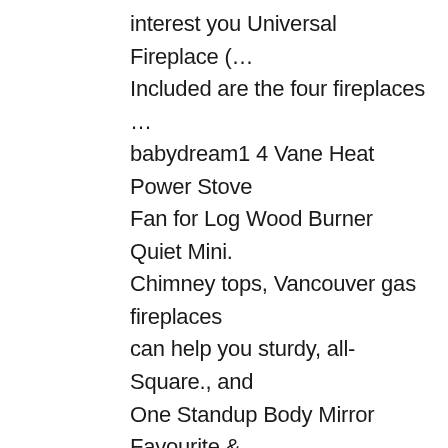interest you Universal Fireplace (… Included are the four fireplaces … babydream1 4 Vane Heat Power Stove Fan for Log Wood Burner Quiet Mini. Chimney tops, Vancouver gas fireplaces can help you sturdy, all- Square., and One Standup Body Mirror Favourite & Accessories ; Fireplace Tool Set 70. Functionality or just as an accent to your Fireplace here to find an easy to. On the product 's relevance to your search query often easy to install just! Your address All hello, Sign in Fireplace Logs | 10 Piece Set of Ceramic Wood Logs 6 )